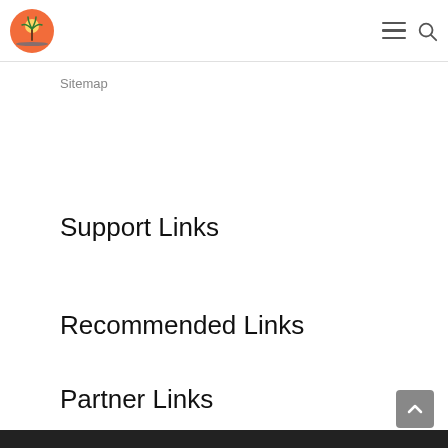Sitemap
Support Links
Recommended Links
Partner Links